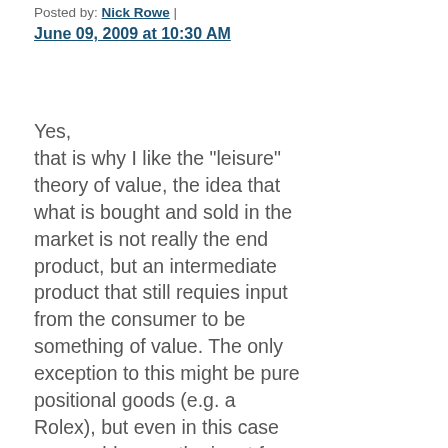Posted by: Nick Rowe | June 09, 2009 at 10:30 AM
Yes,
that is why I like the "leisure" theory of value, the idea that what is bought and sold in the market is not really the end product, but an intermediate product that still requies input from the consumer to be something of value. The only exception to this might be pure positional goods (e.g. a Rolex), but even in this case you could argue the input from the consumer is psychic. Then some of my favourite confusions - e.g. between